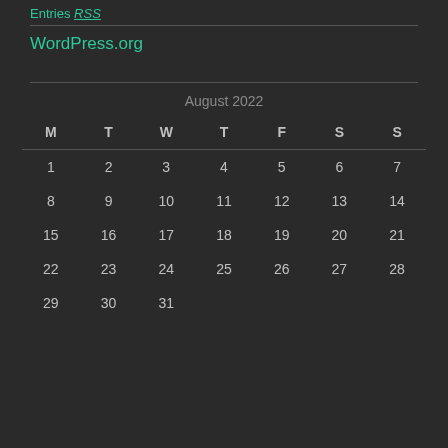Entries RSS
WordPress.org
| M | T | W | T | F | S | S |
| --- | --- | --- | --- | --- | --- | --- |
| 1 | 2 | 3 | 4 | 5 | 6 | 7 |
| 8 | 9 | 10 | 11 | 12 | 13 | 14 |
| 15 | 16 | 17 | 18 | 19 | 20 | 21 |
| 22 | 23 | 24 | 25 | 26 | 27 | 28 |
| 29 | 30 | 31 |  |  |  |  |